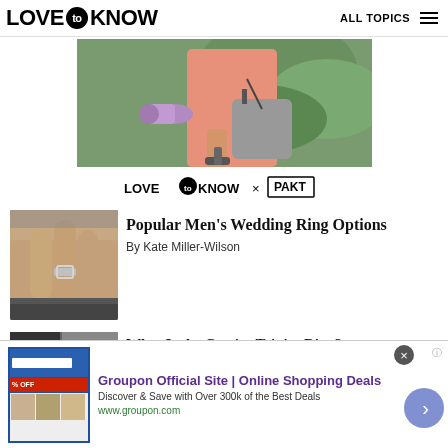LOVE to KNOW — ALL TOPICS
[Figure (photo): Person carrying a purple yoga mat and a grey bag, wearing a pink top, outdoors with green foliage background]
[Figure (logo): LoveToKnow x PAKT partnership logo]
[Figure (photo): Close-up of a man's hand wearing a wedding ring, dressed in a suit]
Popular Men's Wedding Ring Options
By Kate Miller-Wilson
[Figure (photo): Partial thumbnail of another article below]
What Is the Cartier Trinity Ring?
[Figure (screenshot): Groupon advertisement banner: 'Groupon Official Site | Online Shopping Deals' — Discover & Save with Over 300k of the Best Deals — www.groupon.com]